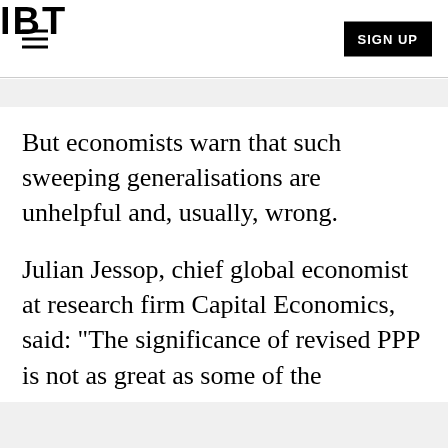IBT | SIGN UP
But economists warn that such sweeping generalisations are unhelpful and, usually, wrong.
Julian Jessop, chief global economist at research firm Capital Economics, said: "The significance of revised PPP is not as great as some of the headlines imply. For a start, GDP in isolation is a poor measure of relative importance in the global economy, let alone in financial markets.